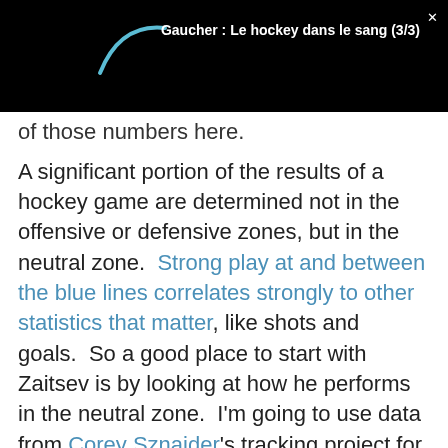Gaucher : Le hockey dans le sang (3/3)
of those numbers here.
A significant portion of the results of a hockey game are determined not in the offensive or defensive zones, but in the neutral zone.  Strong play at and between the blue lines correlates strongly to other statistics that matter, like shots and goals.  So a good place to start with Zaitsev is by looking at how he performs in the neutral zone.  I'm going to use data from Corey Sznajder's tracking project for this portion of the post.  The full data set isn't available publically, but you can